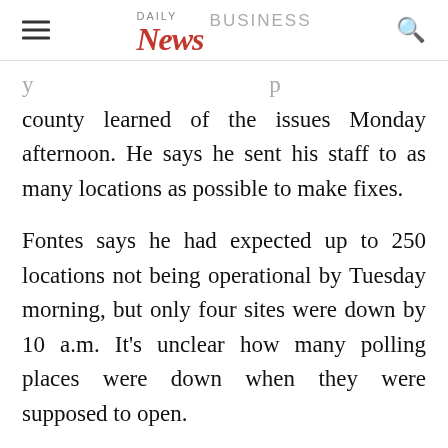DAILY News BUSINESS
county learned of the issues Monday afternoon. He says he sent his staff to as many locations as possible to make fixes.
Fontes says he had expected up to 250 locations not being operational by Tuesday morning, but only four sites were down by 10 a.m. It’s unclear how many polling places were down when they were supposed to open.
Fontes says the contractor didn’t set up t